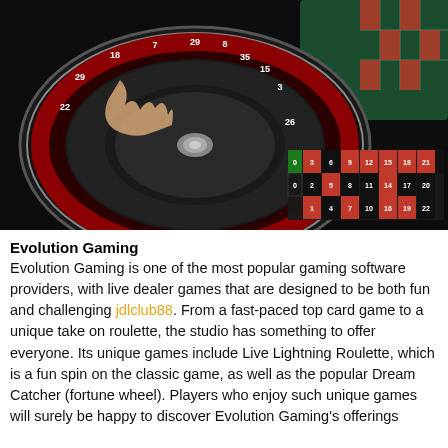[Figure (photo): A live dealer roulette table photo showing a roulette wheel with a dealer's hand, and a digital betting grid overlay at the bottom showing numbers and sections.]
Evolution Gaming
Evolution Gaming is one of the most popular gaming software providers, with live dealer games that are designed to be both fun and challenging jdlclub88. From a fast-paced top card game to a unique take on roulette, the studio has something to offer everyone. Its unique games include Live Lightning Roulette, which is a fun spin on the classic game, as well as the popular Dream Catcher (fortune wheel). Players who enjoy such unique games will surely be happy to discover Evolution Gaming's offerings